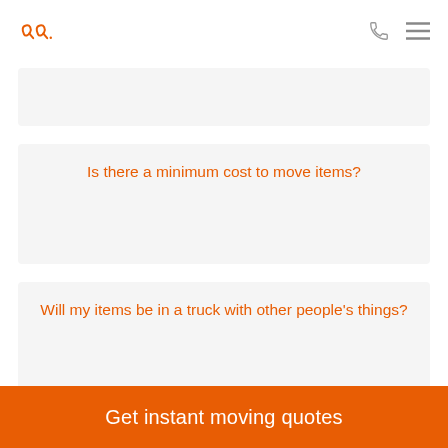Logo and navigation header
Is there a minimum cost to move items?
Will my items be in a truck with other people's things?
Get instant moving quotes